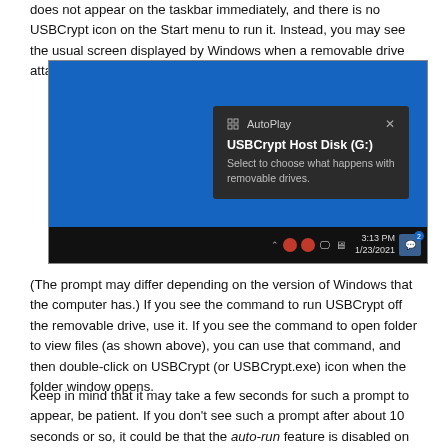does not appear on the taskbar immediately, and there is no USBCrypt icon on the Start menu to run it. Instead, you may see the usual screen displayed by Windows when a removable drive attached to the computer:
[Figure (screenshot): Windows 10 AutoPlay notification popup showing 'USBCrypt Host Disk (G:)' with message 'Select to choose what happens with removable drives.' Shown over a blue desktop background with taskbar showing 3:13 PM 1/23/2021.]
(The prompt may differ depending on the version of Windows that the computer has.) If you see the command to run USBCrypt off the removable drive, use it. If you see the command to open folder to view files (as shown above), you can use that command, and then double-click on USBCrypt (or USBCrypt.exe) icon when the folder window opens.
Keep in mind that it may take a few seconds for such a prompt to appear, be patient. If you don't see such a prompt after about 10 seconds or so, it could be that the auto-run feature is disabled on that computer. In such a case, you can start USBCrypt off the